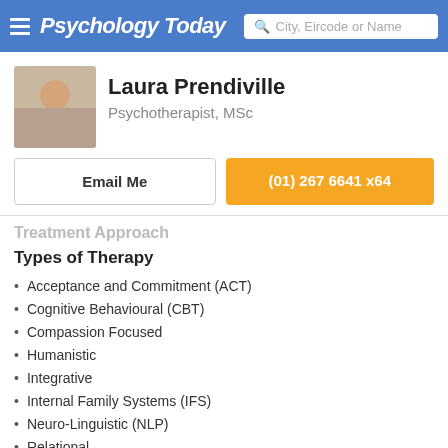Psychology Today | City, Eircode or Name
Laura Prendiville
Psychotherapist, MSc
Email Me
(01) 267 6641 x64
Treatment Approach
Types of Therapy
Acceptance and Commitment (ACT)
Cognitive Behavioural (CBT)
Compassion Focused
Humanistic
Integrative
Internal Family Systems (IFS)
Neuro-Linguistic (NLP)
Relational
Solution Focused Brief (SFBT)